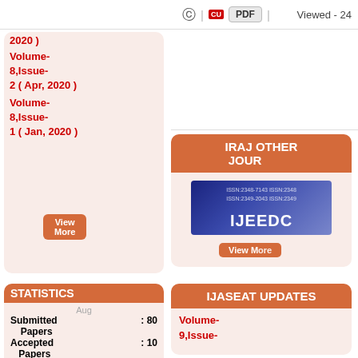© | PDF | Viewed - 24
2020 ) Volume-8,Issue-2  ( Apr, 2020 ) Volume-8,Issue-1  ( Jan, 2020 )
View More
STATISTICS
Aug
Submitted Papers : 80
Accepted Papers : 10
Rejected Papers : 70
Acc. Perc : 12%
IRAJ OTHER JOURNALS
[Figure (other): IJEEDC journal banner image with blue gradient background and white text showing IJEEDC]
View More
IJASEAT UPDATES
Volume-9,Issue-